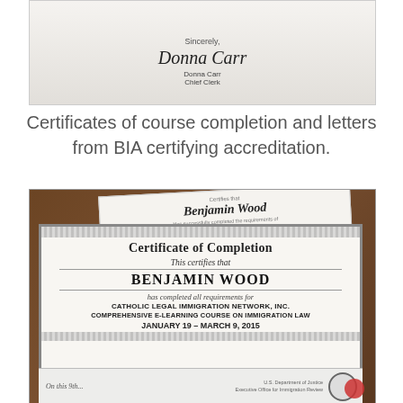[Figure (photo): Photo of a letter showing a signature 'Donna Carr' with printed name 'Donna Carr' and title 'Chief Clerk' below, with 'Sincerely,' above]
Certificates of course completion and letters from BIA certifying accreditation.
[Figure (photo): Photo of multiple certificates on a wooden table. Background certificate shows 'Benjamin Wood' and 'Fundamentals of U.S. Immigration Law'. Foreground certificate reads: Certificate of Completion, This certifies that BENJAMIN WOOD has completed all requirements for CATHOLIC LEGAL IMMIGRATION NETWORK, INC. COMPREHENSIVE E-LEARNING COURSE ON IMMIGRATION LAW, JANUARY 19 – MARCH 9, 2015. On this... with U.S. Department of Justice / Executive Office for Immigration Review seal visible.]